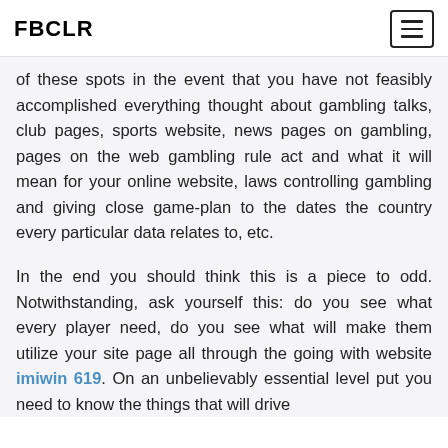FBCLR
of these spots in the event that you have not feasibly accomplished everything thought about gambling talks, club pages, sports website, news pages on gambling, pages on the web gambling rule act and what it will mean for your online website, laws controlling gambling and giving close game-plan to the dates the country every particular data relates to, etc.
In the end you should think this is a piece to odd. Notwithstanding, ask yourself this: do you see what every player need, do you see what will make them utilize your site page all through the going with website imiwin 619. On an unbelievably essential level put you need to know the things that will drive